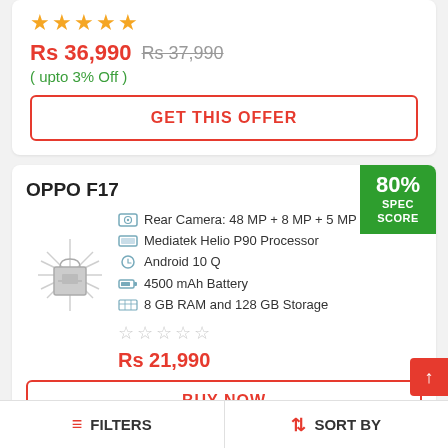★★★★½
Rs 36,990  Rs 37,990
( upto 3% Off )
GET THIS OFFER
OPPO F17
[Figure (illustration): Placeholder image of a phone/shopping bag with rays]
80% SPEC SCORE
Rear Camera: 48 MP + 8 MP + 5 MP +
Mediatek Helio P90 Processor
Android 10 Q
4500 mAh Battery
8 GB RAM and 128 GB Storage
★★★★★ (empty stars)
Rs 21,990
BUY NOW
FILTERS    SORT BY